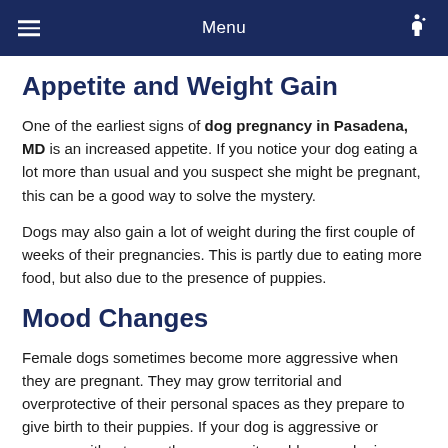Menu
Appetite and Weight Gain
One of the earliest signs of dog pregnancy in Pasadena, MD is an increased appetite. If you notice your dog eating a lot more than usual and you suspect she might be pregnant, this can be a good way to solve the mystery.
Dogs may also gain a lot of weight during the first couple of weeks of their pregnancies. This is partly due to eating more food, but also due to the presence of puppies.
Mood Changes
Female dogs sometimes become more aggressive when they are pregnant. They may grow territorial and overprotective of their personal spaces as they prepare to give birth to their puppies. If your dog is aggressive or nervous without any other reason, it could mean she is pregnant.